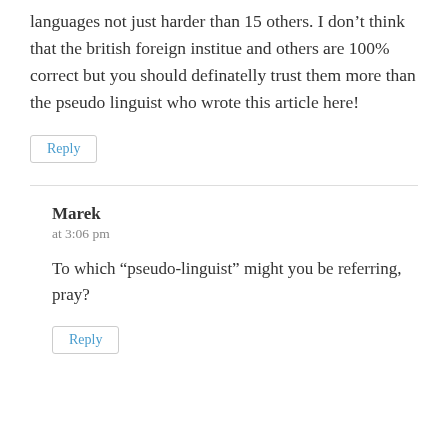languages not just harder than 15 others. I don't think that the british foreign institue and others are 100% correct but you should definatelly trust them more than the pseudo linguist who wrote this article here!
Reply
Marek
at 3:06 pm
To which “pseudo-linguist” might you be referring, pray?
Reply